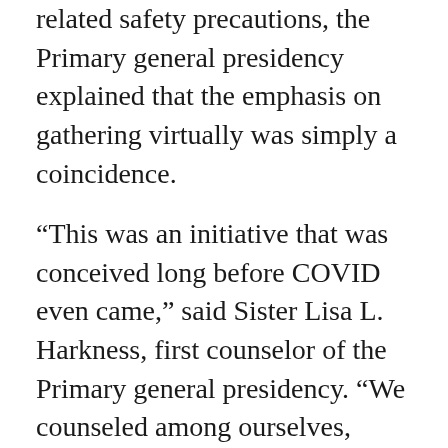related safety precautions, the Primary general presidency explained that the emphasis on gathering virtually was simply a coincidence.
“This was an initiative that was conceived long before COVID even came,” said Sister Lisa L. Harkness, first counselor of the Primary general presidency. “We counseled among ourselves, ‘How can we better reach the children of the world? Why don’t we do a Face to Face but call it Friend to Friend and have it more child friendly?’”
“We feel that it will be a great blessing to children to remember that they are